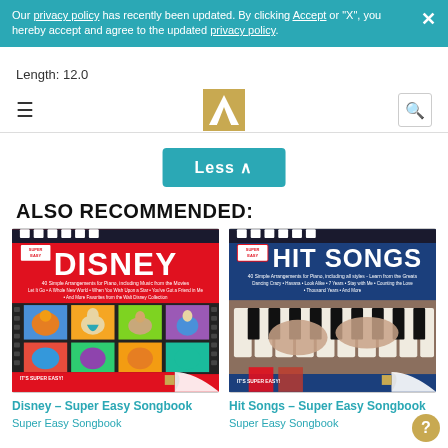Our privacy policy has recently been updated. By clicking Accept or "X", you hereby accept and agree to the updated privacy policy.
Length: 12.0
128 pages
[Figure (logo): Hal Leonard logo - gold angular music note symbol]
Less ^
ALSO RECOMMENDED:
[Figure (photo): Disney – Super Easy Songbook cover: red background with DISNEY title text and film strip of Disney characters]
Disney – Super Easy Songbook
Super Easy Songbook
[Figure (photo): Hit Songs – Super Easy Songbook cover: dark blue background with HIT SONGS title and photo of hands playing piano keys]
Hit Songs – Super Easy Songbook
Super Easy Songbook